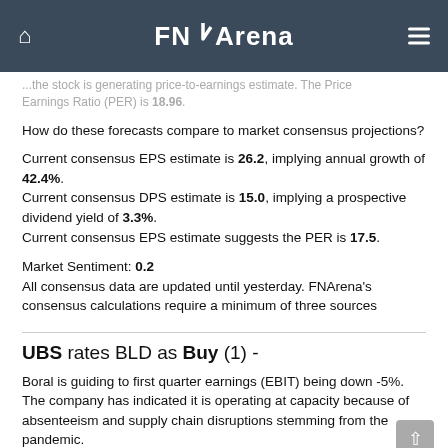FNArena
...the stock is generating price-to-earnings estimate. The Price Earnings Ratio (PER) is 18.96.
How do these forecasts compare to market consensus projections?
Current consensus EPS estimate is 26.2, implying annual growth of 42.4%.
Current consensus DPS estimate is 15.0, implying a prospective dividend yield of 3.3%.
Current consensus EPS estimate suggests the PER is 17.5.
Market Sentiment: 0.2
All consensus data are updated until yesterday. FNArena's consensus calculations require a minimum of three sources
UBS rates BLD as Buy (1) -
Boral is guiding to first quarter earnings (EBIT) being down -5%. The company has indicated it is operating at capacity because of absenteeism and supply chain disruptions stemming from the pandemic.